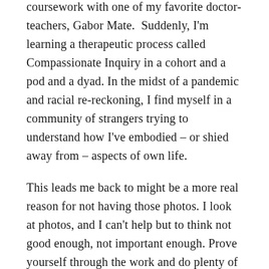coursework with one of my favorite doctor-teachers, Gabor Mate.  Suddenly, I'm learning a therapeutic process called Compassionate Inquiry in a cohort and a pod and a dyad. In the midst of a pandemic and racial re-reckoning, I find myself in a community of strangers trying to understand how I've embodied – or shied away from – aspects of own life.
This leads me back to might be a more real reason for not having those photos. I look at photos, and I can't help but to think not good enough, not important enough. Prove yourself through the work and do plenty of it.
That voice – which might be as familiar to you as it